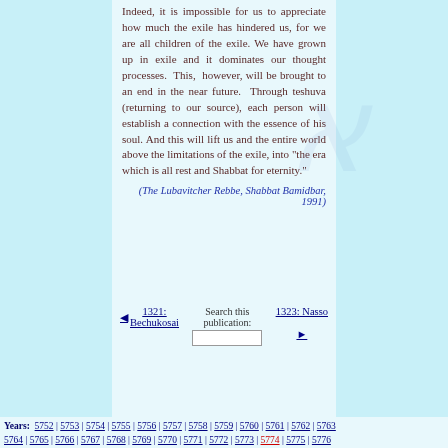Indeed, it is impossible for us to appreciate how much the exile has hindered us, for we are all children of the exile. We have grown up in exile and it dominates our thought processes. This, however, will be brought to an end in the near future. Through teshuva (returning to our source), each person will establish a connection with the essence of his soul. And this will lift us and the entire world above the limitations of the exile, into "the era which is all rest and Shabbat for eternity."
(The Lubavitcher Rebbe, Shabbat Bamidbar, 1991)
◄ 1321: Bechukosai    Search this publication:    1323: Nasso ►
Years: 5752 | 5753 | 5754 | 5755 | 5756 | 5757 | 5758 | 5759 | 5760 | 5761 | 5762 | 5763 | 5764 | 5765 | 5766 | 5767 | 5768 | 5769 | 5770 | 5771 | 5772 | 5773 | 5774 | 5775 | 5776